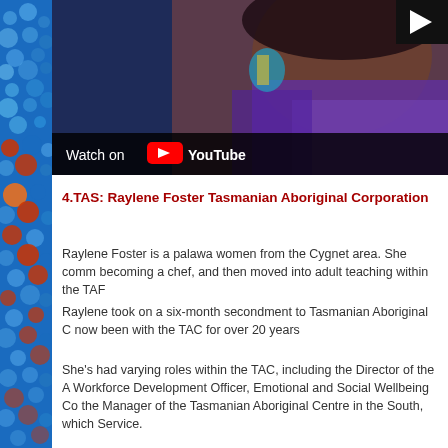[Figure (screenshot): YouTube video thumbnail showing a woman wearing a purple scarf and colorful earrings. A 'Watch on YouTube' bar is visible at the bottom with the YouTube logo, and a play button in the top right corner.]
4.TAS: Raylene Foster Tasmanian Aboriginal Corporation
Raylene Foster is a palawa women from the Cygnet area. She comm becoming a chef, and then moved into adult teaching within the TAF
Raylene took on a six-month secondment to Tasmanian Aboriginal C now been with the TAC for over 20 years
She's had varying roles within the TAC, including the Director of the A Workforce Development Officer, Emotional and Social Wellbeing Co the Manager of the Tasmanian Aboriginal Centre in the South, which Service.